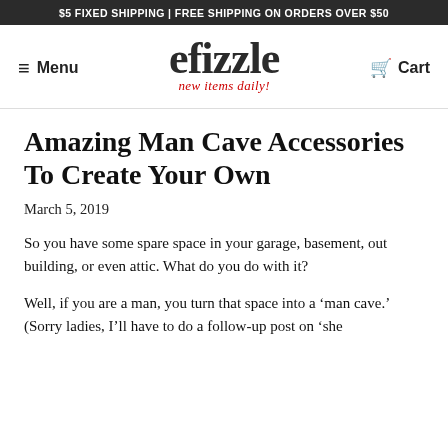$5 FIXED SHIPPING | FREE SHIPPING ON ORDERS OVER $50
[Figure (logo): efizzle logo with tagline 'new items daily!']
Amazing Man Cave Accessories To Create Your Own
March 5, 2019
So you have some spare space in your garage, basement, out building, or even attic. What do you do with it?
Well, if you are a man, you turn that space into a ‘man cave.’ (Sorry ladies, I’ll have to do a follow-up post on ‘she sheds.’